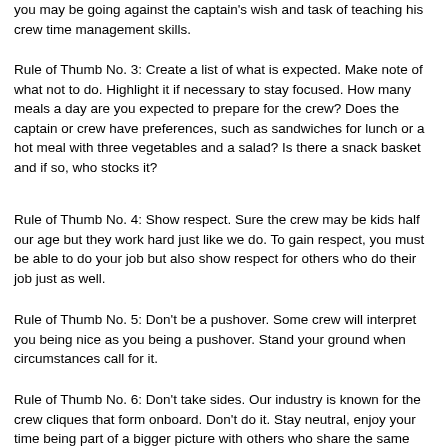you may be going against the captain's wish and task of teaching his crew time management skills.
Rule of Thumb No. 3: Create a list of what is expected. Make note of what not to do. Highlight it if necessary to stay focused. How many meals a day are you expected to prepare for the crew? Does the captain or crew have preferences, such as sandwiches for lunch or a hot meal with three vegetables and a salad? Is there a snack basket and if so, who stocks it?
Rule of Thumb No. 4: Show respect. Sure the crew may be kids half our age but they work hard just like we do. To gain respect, you must be able to do your job but also show respect for others who do their job just as well.
Rule of Thumb No. 5: Don't be a pushover. Some crew will interpret you being nice as you being a pushover. Stand your ground when circumstances call for it.
Rule of Thumb No. 6: Don't take sides. Our industry is known for the crew cliques that form onboard. Don't do it. Stay neutral, enjoy your time being part of a bigger picture with others who share the same love of the